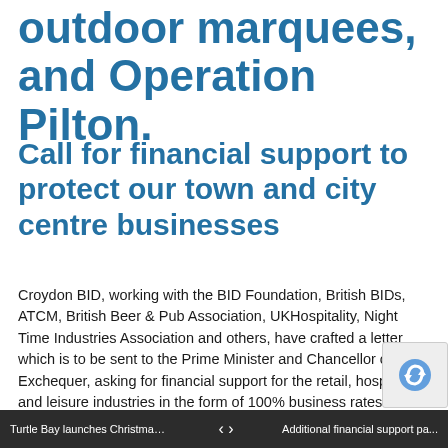outdoor marquees, and Operation Pilton.
Call for financial support to protect our town and city centre businesses
Croydon BID, working with the BID Foundation, British BIDs, ATCM, British Beer & Pub Association, UKHospitality, Night Time Industries Association and others, have crafted a letter which is to be sent to the Prime Minister and Chancellor of the Exchequer, asking for financial support for the retail, hospitality and leisure industries in the form of 100% business rates relief until March 2022, VAT reduction for hospitality of 12.5% through to 31st March 2023; and grants of up to £... by rateable value to businesses with the hosp... retail and leisure sector. Blackburn BID has added its...
Turtle Bay launches Christmas ... Additional financial support pa...